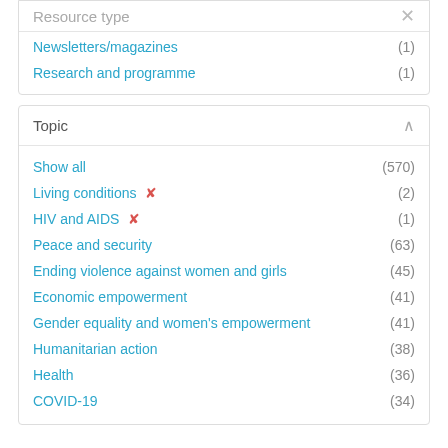Resource type
Newsletters/magazines (1)
Research and programme (1)
Topic
Show all (570)
Living conditions ✕ (2)
HIV and AIDS ✕ (1)
Peace and security (63)
Ending violence against women and girls (45)
Economic empowerment (41)
Gender equality and women's empowerment (41)
Humanitarian action (38)
Health (36)
COVID-19 (34)